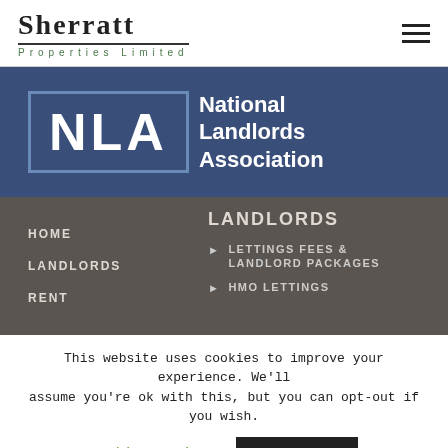[Figure (logo): Sherratt Properties Limited logo with serif text and green subtitle]
[Figure (logo): NLA - National Landlords Association logo on blue background]
HOME
LANDLORDS
RENT
LANDLORDS
LETTINGS FEES & LANDLORD PACKAGES
HMO LETTINGS
This website uses cookies to improve your experience. We'll assume you're ok with this, but you can opt-out if you wish.
Cookie settings
ACCEPT